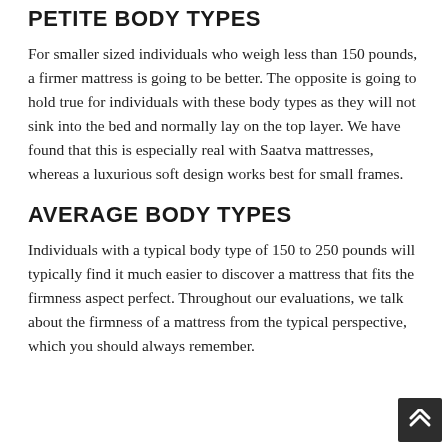PETITE BODY TYPES
For smaller sized individuals who weigh less than 150 pounds, a firmer mattress is going to be better. The opposite is going to hold true for individuals with these body types as they will not sink into the bed and normally lay on the top layer. We have found that this is especially real with Saatva mattresses, whereas a luxurious soft design works best for small frames.
AVERAGE BODY TYPES
Individuals with a typical body type of 150 to 250 pounds will typically find it much easier to discover a mattress that fits the firmness aspect perfect. Throughout our evaluations, we talk about the firmness of a mattress from the typical perspective, which you should always remember.